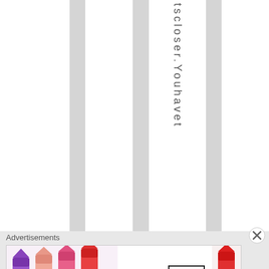[Figure (other): Page layout with alternating white and gray vertical columns, with vertical rotated text reading 'tscloser.Youhavet' in one of the columns]
Advertisements
[Figure (photo): MAC Cosmetics advertisement banner showing colorful lipsticks (purple, pink, coral) on the left, MAC logo in the center, SHOP NOW button box, and a red lipstick on the right]